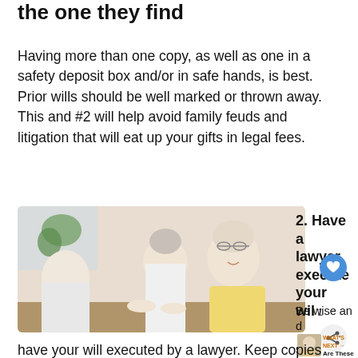the one they find
Having more than one copy, as well as one in a safety deposit box and/or in safe hands, is best. Prior wills should be well marked or thrown away. This and #2 will help avoid family feuds and litigation that will eat up your gifts in legal fees.
[Figure (photo): Two elderly people (a man and a woman) smiling and shaking hands with a younger woman across a table, in a bright room with plants in background. Coffee cup visible on table.]
2. Have a lawyer execute your will
Be wise and sp money to
WHAT'S NEXT → Are These 3 Traits Helpin...
have your will executed by a lawyer. Keep copies